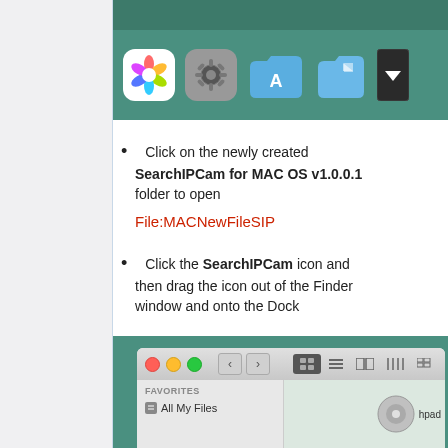[Figure (screenshot): macOS Dock screenshot showing Photos icon (colorful pinwheel), System Preferences (gear) icon, Applications folder, Documents folder, and a dropdown arrow on teal background]
Click on the newly created SearchIPCam for MAC OS v1.0.0.1 folder to open
File:MACNewFileSIP
Click the SearchIPCam icon and then drag the icon out of the Finder window and onto the Dock
[Figure (screenshot): macOS Finder window screenshot showing toolbar with traffic light buttons, navigation arrows, view mode buttons, sidebar with Favorites and All My Files items, on teal background]